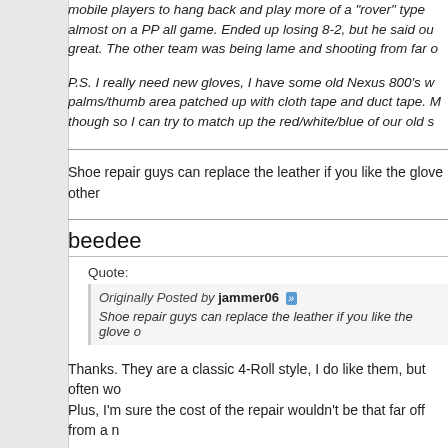mobile players to hang back and play more of a "rover" type almost on a PP all game. Ended up losing 8-2, but he said our great. The other team was being lame and shooting from far
P.S. I really need new gloves, I have some old Nexus 800's w palms/thumb area patched up with cloth tape and duct tape. though so I can try to match up the red/white/blue of our old s
Shoe repair guys can replace the leather if you like the glove other
beedee
Quote:
Originally Posted by jammer06
Shoe repair guys can replace the leather if you like the glove o
Thanks. They are a classic 4-Roll style, I do like them, but often wo Plus, I'm sure the cost of the repair wouldn't be that far off from a n
The Vapor feels good in the fingers but then gets really wide open more snug all around. On the CCM side, the JetSpeed fits similar t Supreme. Pure Hockey has a much better variety than Hockey Mo